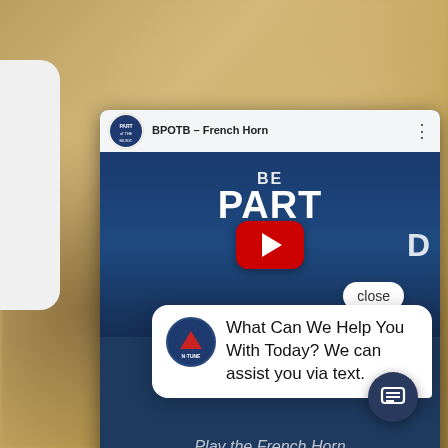[Figure (screenshot): Screenshot of a webpage showing a YouTube video embed for 'BPOTB - French Horn' with a blue themed video player showing 'BE PART OF THE BAND' text and a red YouTube play button, overlaid with a chat widget popup from N-Tune Music & Sound asking 'What Can We Help You With Today? We can assist you via text.' with a close button and chat icon button visible. Background shows blurred brass instruments.]
BPOTB - French Horn
BE PART OF THE BAND
French Horn
Play the French Horn
close
What Can We Help You With Today? We can assist you via text.